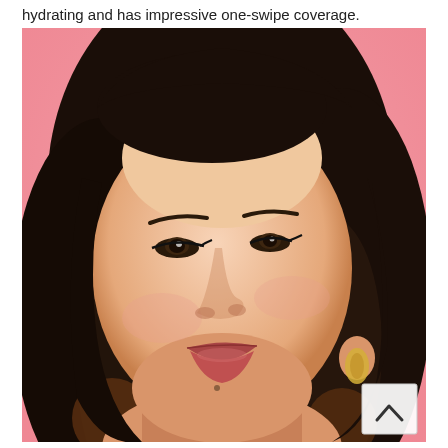hydrating and has impressive one-swipe coverage.
[Figure (photo): Close-up portrait of a young Asian woman with long dark wavy hair, wearing rosy-mauve lipstick and gold hoop earrings, set against a pink background. She is looking upward slightly to the left. A back-to-top navigation button is visible in the bottom-right corner of the image.]